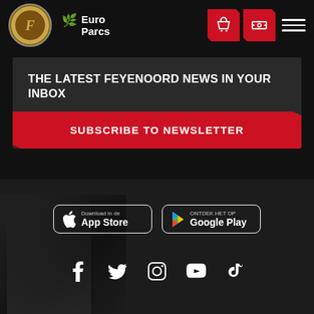[Figure (logo): Feyenoord Rotterdam circular badge logo with Euro Parcs sponsor text and tulip icon]
THE LATEST FEYENOORD NEWS IN YOUR INBOX
SUBSCRIBE TO NEWSLETTER
[Figure (screenshot): App Store and Google Play download buttons with social media icons (Facebook, Twitter, Instagram, YouTube, TikTok) on dark background with player silhouette]